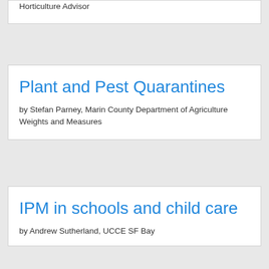Horticulture Advisor
Plant and Pest Quarantines
by Stefan Parney, Marin County Department of Agriculture Weights and Measures
IPM in schools and child care
by Andrew Sutherland, UCCE SF Bay